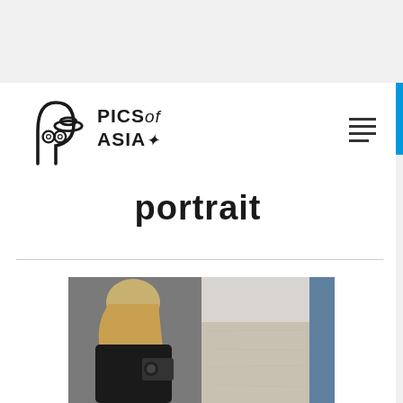[Figure (logo): Pics of Asia logo with hand-drawn arch/figure illustration and bold text reading PICS of ASIA]
portrait
[Figure (photo): A person with blonde hair holding a camera, photographing a concrete wall, viewed from behind. Dark clothing, urban setting.]